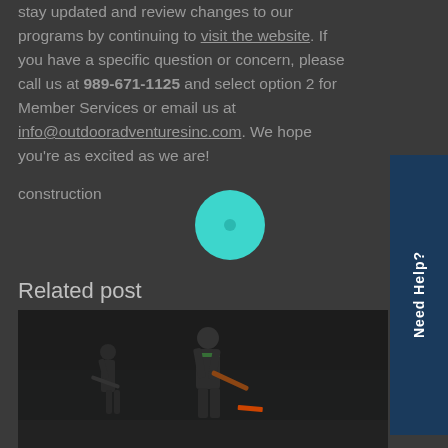stay updated and review changes to our programs by continuing to visit the website. If you have a specific question or concern, please call us at 989-671-1125 and select option 2 for Member Services or email us at info@outdooradventuresinc.com. We hope you're as excited as we are!
construction
Related post
[Figure (photo): Two children playing hockey outdoors on what appears to be a dark outdoor rink or road at night/dusk]